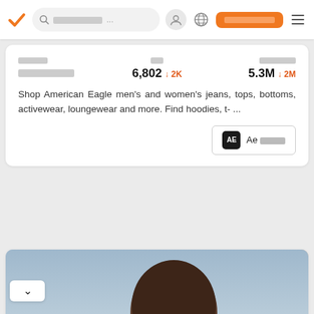[Navigation bar with logo, search, profile, globe, CTA button, menu]
| 카테고리 | 팔로워 | 팔로잉수 |
| --- | --- | --- |
| 패션 / 이커머스 | 6,802 ↓ 2K | 5.3M ↓ 2M |
Shop American Eagle men's and women's jeans, tops, bottoms, activewear, loungewear and more. Find hoodies, t- ...
[Figure (screenshot): AE (American Eagle) button/link element with dark square icon labeled AE]
[Figure (photo): Bottega Veneta website screenshot showing back of a person's head against a blue-grey sky background]